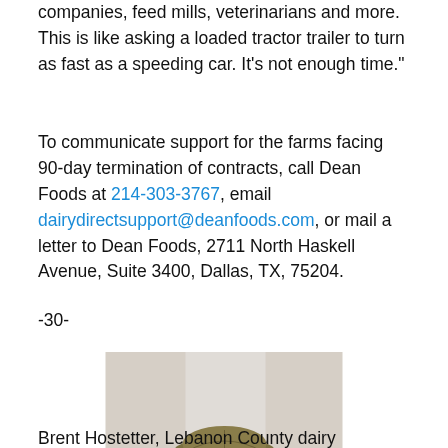companies, feed mills, veterinarians and more. This is like asking a loaded tractor trailer to turn as fast as a speeding car. It's not enough time."
To communicate support for the farms facing 90-day termination of contracts, call Dean Foods at 214-303-3767, email dairydirectsupport@deanfoods.com, or mail a letter to Dean Foods, 2711 North Haskell Avenue, Suite 3400, Dallas, TX, 75204.
-30-
[Figure (photo): Brent Hostetter, Lebanon County dairy producer, wearing camouflage jacket and cap, speaking at a microphone at an event.]
Brent Hostetter, Lebanon County dairy producer: "I am not